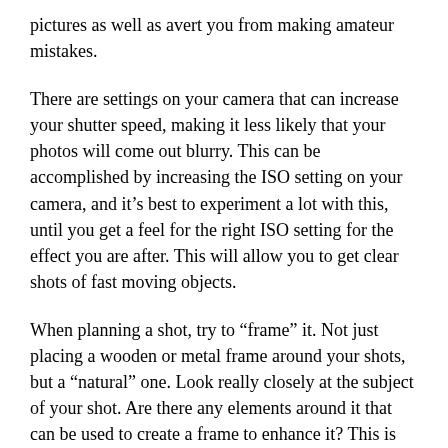pictures as well as avert you from making amateur mistakes.
There are settings on your camera that can increase your shutter speed, making it less likely that your photos will come out blurry. This can be accomplished by increasing the ISO setting on your camera, and it's best to experiment a lot with this, until you get a feel for the right ISO setting for the effect you are after. This will allow you to get clear shots of fast moving objects.
When planning a shot, try to “frame” it. Not just placing a wooden or metal frame around your shots, but a “natural” one. Look really closely at the subject of your shot. Are there any elements around it that can be used to create a frame to enhance it? This is called composition, and you will need to develop this skill.
Pictures of